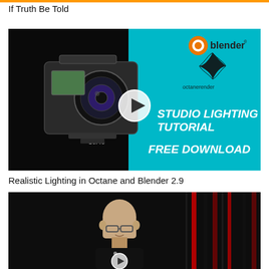If Truth Be Told
[Figure (screenshot): Video thumbnail for 'Realistic Lighting in Octane and Blender 2.9' showing a GoPro camera on the left against a dark background and cyan right side with Blender logo, octanerender logo, a play button circle, and text: STUDIO LIGHTING TUTORIAL FREE DOWNLOAD]
Realistic Lighting in Octane and Blender 2.9
[Figure (screenshot): Video thumbnail showing a bald man with glasses speaking at a podium with a play button circle overlay, against a dark background with colorful stage lighting elements]